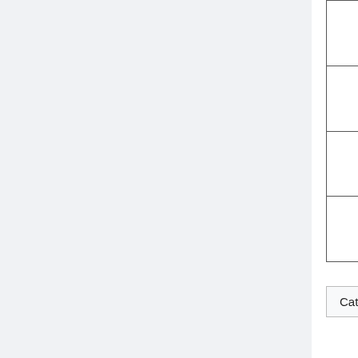| Product | Manufacturer | Year |
| --- | --- | --- |
| Armadillo-220 | Atmark Techno | 2006 |
| Armadillo-210 | Atmark Techno | 2005 |
| Eddy v2.1 Series | SystemBase | 2008 |
| APF27 | Armadeus Systems | 2009 |
Category:  Products